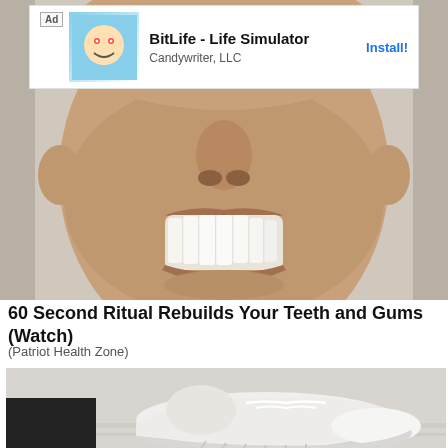[Figure (screenshot): Ad banner for BitLife - Life Simulator by Candywriter, LLC with Install button]
[Figure (photo): Close-up photo of a man smiling showing teeth]
60 Second Ritual Rebuilds Your Teeth and Gums (Watch)
(Patriot Health Zone)
[Figure (photo): Photo of a white sneaker being put on a foot on a light wooden floor]